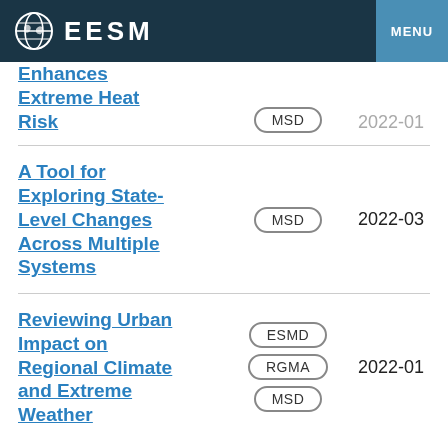EESM  MENU
Enhances Extreme Heat Risk | MSD | 2022-01 (partial)
A Tool for Exploring State-Level Changes Across Multiple Systems | MSD | 2022-03
Reviewing Urban Impact on Regional Climate and Extreme Weather | ESMD, RGMA, MSD | 2022-01